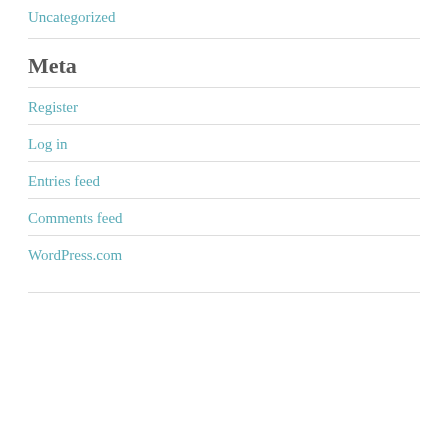Uncategorized
Meta
Register
Log in
Entries feed
Comments feed
WordPress.com